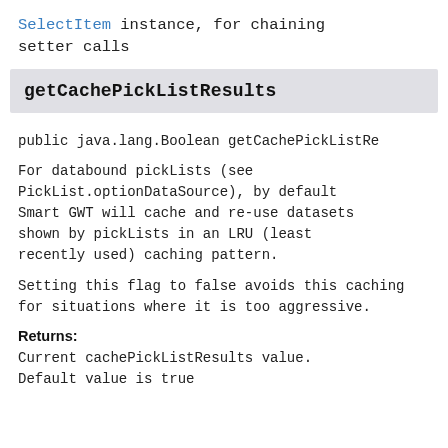SelectItem instance, for chaining setter calls
getCachePickListResults
public java.lang.Boolean getCachePickListRe
For databound pickLists (see PickList.optionDataSource), by default Smart GWT will cache and re-use datasets shown by pickLists in an LRU (least recently used) caching pattern.
Setting this flag to false avoids this caching for situations where it is too aggressive.
Returns:
Current cachePickListResults value. Default value is true